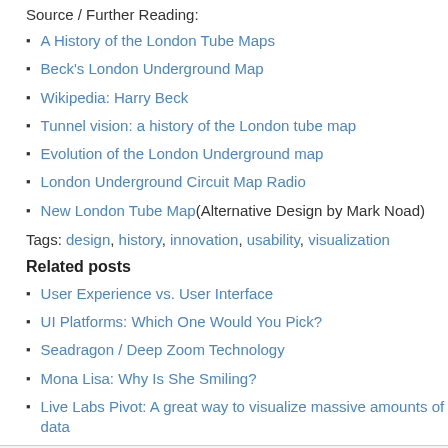Source / Further Reading:
A History of the London Tube Maps
Beck's London Underground Map
Wikipedia: Harry Beck
Tunnel vision: a history of the London tube map
Evolution of the London Underground map
London Underground Circuit Map Radio
New London Tube Map (Alternative Design by Mark Noad)
Tags: design, history, innovation, usability, visualization
Related posts
User Experience vs. User Interface
UI Platforms: Which One Would You Pick?
Seadragon / Deep Zoom Technology
Mona Lisa: Why Is She Smiling?
Live Labs Pivot: A great way to visualize massive amounts of data